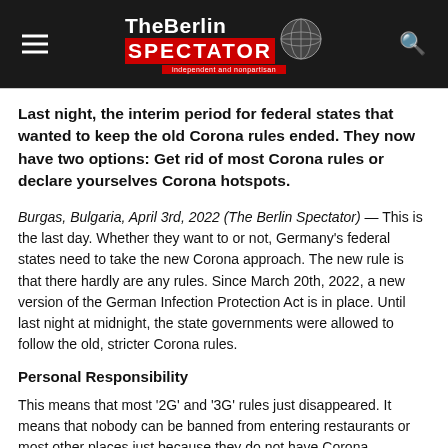The Berlin Spectator — Independent and nonpartisan
Last night, the interim period for federal states that wanted to keep the old Corona rules ended. They now have two options: Get rid of most Corona rules or declare yourselves Corona hotspots.
Burgas, Bulgaria, April 3rd, 2022 (The Berlin Spectator) — This is the last day. Whether they want to or not, Germany's federal states need to take the new Corona approach. The new rule is that there hardly are any rules. Since March 20th, 2022, a new version of the German Infection Protection Act is in place. Until last night at midnight, the state governments were allowed to follow the old, stricter Corona rules.
Personal Responsibility
This means that most '2G' and '3G' rules just disappeared. It means that nobody can be banned from entering restaurants or most other places just because they do not have Corona